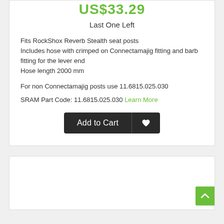US$33.29
Last One Left
Fits RockShox Reverb Stealth seat posts
Includes hose with crimped on Connectamajig fitting and barb fitting for the lever end
Hose length 2000 mm
For non Connectamajig posts use 11.6815.025.030
SRAM Part Code: 11.6815.025.030 Learn More
[Figure (screenshot): Add to Cart button with wishlist heart icon button, both dark/black background]
[Figure (screenshot): White card section at bottom of page with green scroll-to-top arrow button at bottom right]